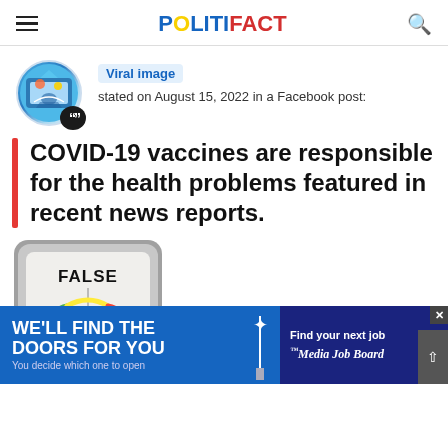POLITIFACT
Viral image
stated on August 15, 2022 in a Facebook post:
COVID-19 vaccines are responsible for the health problems featured in recent news reports.
[Figure (other): PolitiFact Truth-O-Meter gauge showing FALSE rating]
[Figure (other): Advertisement banner: WE'LL FIND THE DOORS FOR YOU / You decide which one to open / Find your next job / Media Job Board]